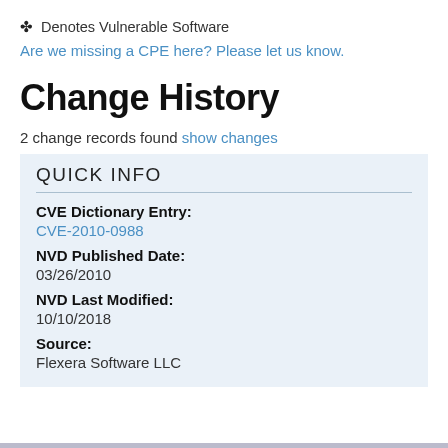✤ Denotes Vulnerable Software
Are we missing a CPE here? Please let us know.
Change History
2 change records found show changes
QUICK INFO
CVE Dictionary Entry:
CVE-2010-0988
NVD Published Date:
03/26/2010
NVD Last Modified:
10/10/2018
Source:
Flexera Software LLC